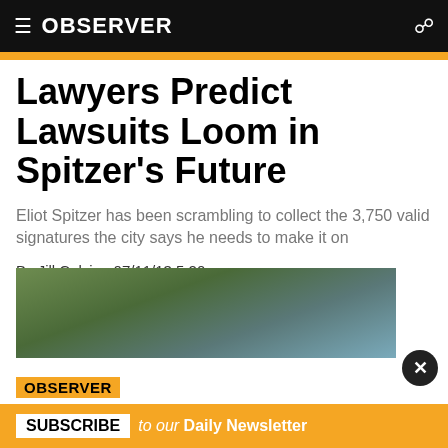OBSERVER
Lawyers Predict Lawsuits Loom in Spitzer's Future
Eliot Spitzer has been scrambling to collect the 3,750 valid signatures the city says he needs to make it on
By Jill Colvin · 07/11/13 5:20pm
[Figure (other): Social media sharing icons: Facebook, Twitter, LinkedIn, Email]
[Figure (photo): Photograph of Eliot Spitzer outdoors with trees in background]
OBSERVER SUBSCRIBE to our Daily Newsletter